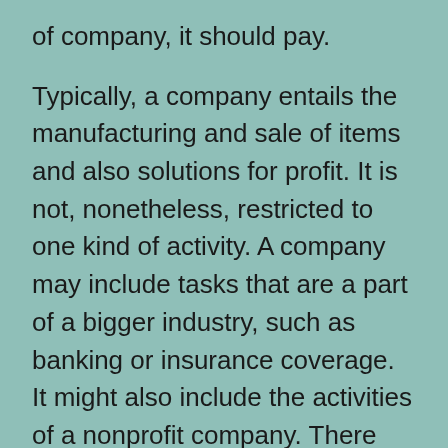of company, it should pay.

Typically, a company entails the manufacturing and sale of items and also solutions for profit. It is not, nonetheless, restricted to one kind of activity. A company may include tasks that are a part of a bigger industry, such as banking or insurance coverage. It might also include the activities of a nonprofit company. There are several kinds of companies. As an example, a not-for-profit company might generate and also offer goods and services for a public advantage. The term organization can describe a company.